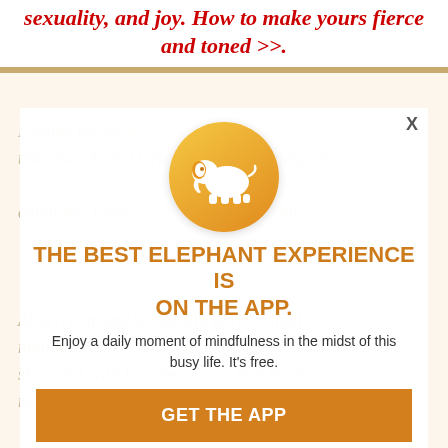sexuality, and joy. How to make yours fierce and toned >>.
Despite encouragement from those wiser than me whom I have encountered along the emotions, I should part of my Anger, fear and shame are dark, primal motions that ture are shrouded with heaviness; one that blocks mediate said app. Yet awareness g
[Figure (logo): White elephant silhouette on a gold/orange circular background]
THE BEST ELEPHANT EXPERIENCE IS ON THE APP.
Enjoy a daily moment of mindfulness in the midst of this busy life. It's free.
GET THE APP
OPEN IN APP